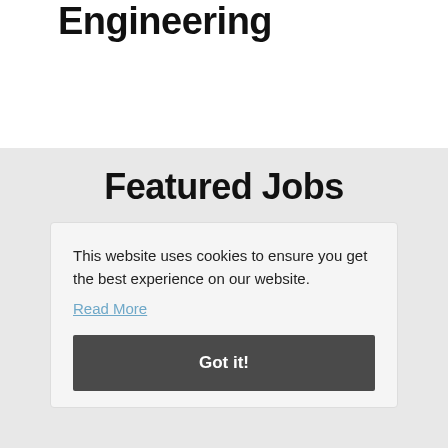Engineering
Featured Jobs
This website uses cookies to ensure you get the best experience on our website.
Read More
Got it!